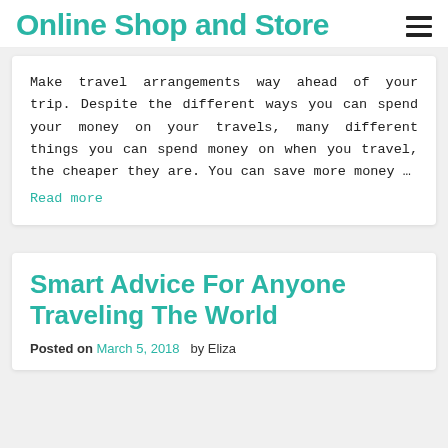Online Shop and Store
Make travel arrangements way ahead of your trip. Despite the different ways you can spend your money on your travels, many different things you can spend money on when you travel, the cheaper they are. You can save more money …
Read more
Smart Advice For Anyone Traveling The World
Posted on March 5, 2018   by Eliza